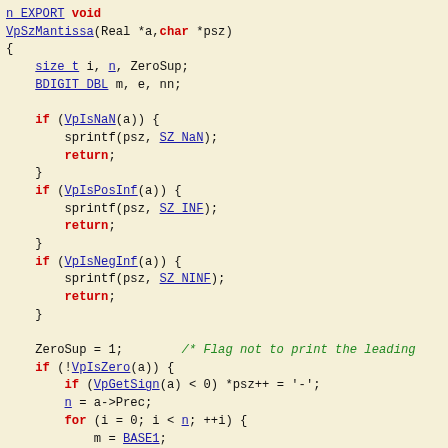[Figure (screenshot): Source code listing in C showing the VpSzMantissa function with syntax highlighting. Red keywords, blue underlined identifiers/links, green italic comments, bold return/for/while/if keywords.]